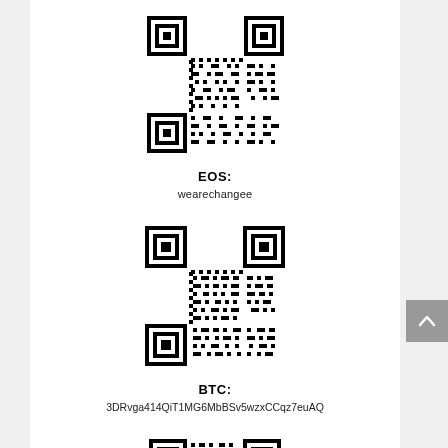[Figure (other): QR code for EOS cryptocurrency address wearechangee]
EOS:
wearechangee
[Figure (other): QR code for BTC cryptocurrency address 3DRvga414QiT1MG6MbBSv5wzxCCqz7euAQ]
BTC:
3DRvga414QiT1MG6MbBSv5wzxCCqz7euAQ
[Figure (other): QR code partially visible at bottom of page]